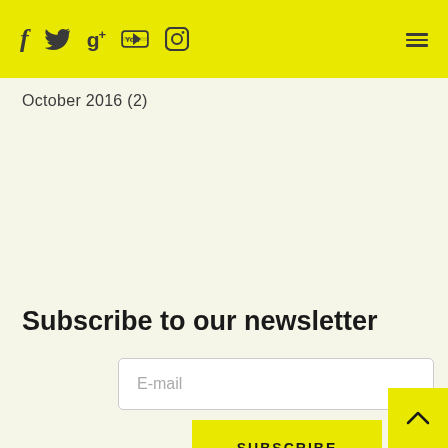f  [twitter] g+  [youtube] [instagram]  ≡
October 2016 (2)
Subscribe to our newsletter
E-mail
SUBSCRIBE